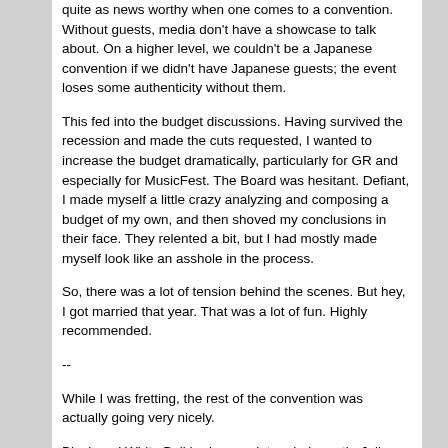quite as news worthy when one comes to a convention. Without guests, media don't have a showcase to talk about. On a higher level, we couldn't be a Japanese convention if we didn't have Japanese guests; the event loses some authenticity without them.
This fed into the budget discussions. Having survived the recession and made the cuts requested, I wanted to increase the budget dramatically, particularly for GR and especially for MusicFest. The Board was hesitant. Defiant, I made myself a little crazy analyzing and composing a budget of my own, and then shoved my conclusions in their face. They relented a bit, but I had mostly made myself look like an asshole in the process.
So, there was a lot of tension behind the scenes. But hey, I got married that year. That was a lot of fun. Highly recommended.
--
While I was fretting, the rest of the convention was actually going very nicely.
Black and White Ball had grown into a behemoth. Julia knew people versed in dance, and so the event grew in its offerings and started hosting free dance lessons throughout the weekend. We moved it to the Fairmont - it had a great atmosphere, and was the only place it could fit it - and a few vendors - snacks, photos, flowers - came along. A culture had grown up around it, and that was really cool.
GR was doing really well, too - a lot of guests were returning for more.